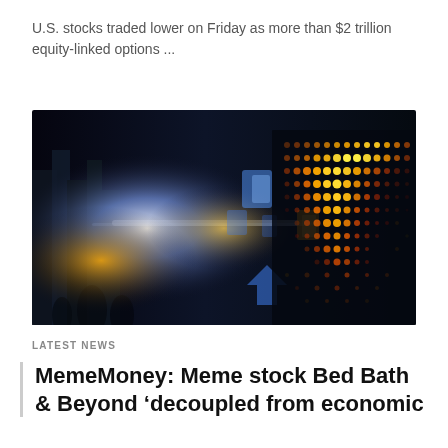U.S. stocks traded lower on Friday as more than $2 trillion equity-linked options ...
[Figure (photo): Blurred city street at night with illuminated stock market ticker board showing orange/red LED dots forming financial data display, blue bokeh lights in background]
LATEST NEWS
MemeMoney: Meme stock Bed Bath & Beyond ‘decoupled from economic